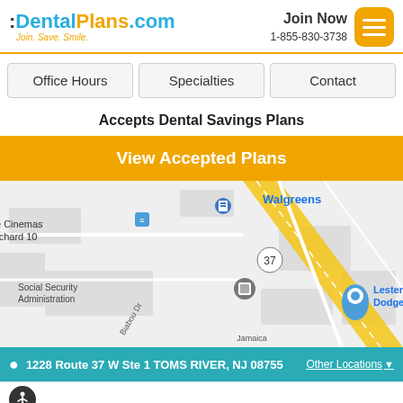[Figure (logo): DentalPlans.com logo with tagline 'Join. Save. Smile.' and Join Now button with phone 1-855-830-3738]
Office Hours
Specialties
Contact
Accepts Dental Savings Plans
View Accepted Plans
[Figure (map): Google map showing area near 1228 Route 37 W, Toms River NJ. Shows Walgreens, Social Security Administration, Lester Glenn Chrysler Dodge Jeep RAM FIAT, e Cinemas rchard 10 labels. Route 37 visible as yellow road.]
1228 Route 37 W Ste 1 TOMS RIVER, NJ 08755 Other Locations